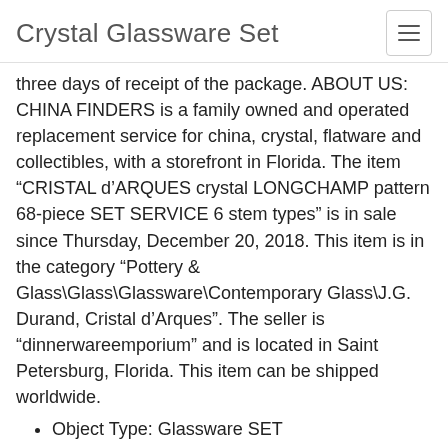Crystal Glassware Set
three days of receipt of the package. ABOUT US: CHINA FINDERS is a family owned and operated replacement service for china, crystal, flatware and collectibles, with a storefront in Florida. The item “CRISTAL d’ARQUES crystal LONGCHAMP pattern 68-piece SET SERVICE 6 stem types” is in sale since Thursday, December 20, 2018. This item is in the category “Pottery & Glass\Glass\Glassware\Contemporary Glass\J.G. Durand, Cristal d’Arques”. The seller is “dinnerwareemporium” and is located in Saint Petersburg, Florida. This item can be shipped worldwide.
Object Type: Glassware SET
Type of Glass: Pressed
Brand: Cristal D’Arques Durand
Pattern: Longchamp